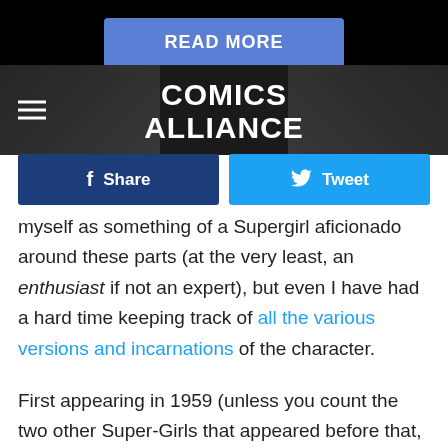[Figure (screenshot): READ MORE button in blue on black background]
[Figure (logo): Comics Alliance logo on dark banner with hamburger menu icon]
[Figure (infographic): Facebook Share and Twitter Tweet social media buttons]
myself as something of a Supergirl aficionado around these parts (at the very least, an enthusiast if not an expert), but even I have had a hard time keeping track of all the various versions and incarnations of the character.
First appearing in 1959 (unless you count the two other Super-Girls that appeared before that, but have nothing to do with the character we now know), Supergirl rocketed onto the scene,in a literal rocket, as a Teen of Steel super-cousin to Superman. How can Superman have a cousin when Krypton exploded? Well, thankfully one city was miraculously